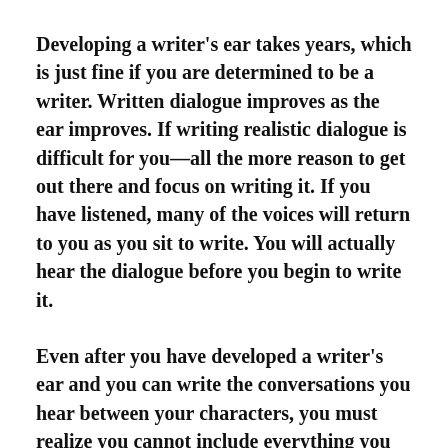Developing a writer's ear takes years, which is just fine if you are determined to be a writer. Written dialogue improves as the ear improves. If writing realistic dialogue is difficult for you—all the more reason to get out there and focus on writing it. If you have listened, many of the voices will return to you as you sit to write. You will actually hear the dialogue before you begin to write it.
Even after you have developed a writer's ear and you can write the conversations you hear between your characters, you must realize you cannot include everything you hear.